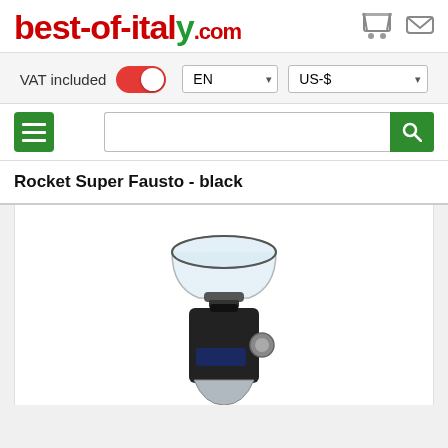best-of-italy.com
VAT included EN US-$
Rocket Super Fausto - black
[Figure (photo): Rocket Super Fausto black espresso grinder with transparent hopper on top and chrome/black body, shown on white background]